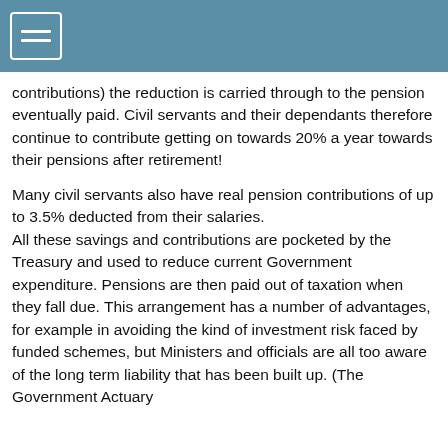contributions) the reduction is carried through to the pension eventually paid. Civil servants and their dependants therefore continue to contribute getting on towards 20% a year towards their pensions after retirement!
Many civil servants also have real pension contributions of up to 3.5% deducted from their salaries. All these savings and contributions are pocketed by the Treasury and used to reduce current Government expenditure. Pensions are then paid out of taxation when they fall due. This arrangement has a number of advantages, for example in avoiding the kind of investment risk faced by funded schemes, but Ministers and officials are all too aware of the long term liability that has been built up. (The Government Actuary...